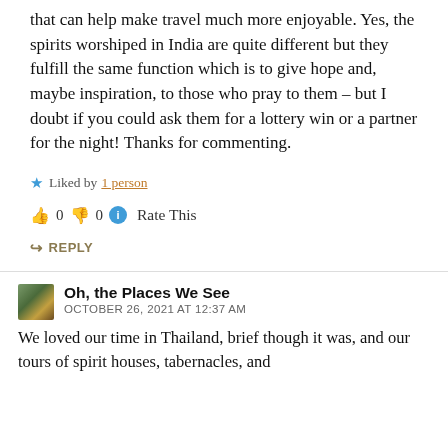that can help make travel much more enjoyable. Yes, the spirits worshiped in India are quite different but they fulfill the same function which is to give hope and, maybe inspiration, to those who pray to them – but I doubt if you could ask them for a lottery win or a partner for the night! Thanks for commenting.
★ Liked by 1 person
👍 0 👎 0 ℹ Rate This
↪ REPLY
Oh, the Places We See
OCTOBER 26, 2021 AT 12:37 AM
We loved our time in Thailand, brief though it was, and our tours of spirit houses, tabernacles, and